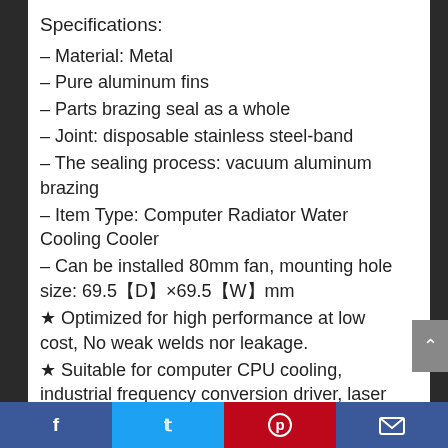Specifications:
– Material: Metal
– Pure aluminum fins
– Parts brazing seal as a whole
– Joint: disposable stainless steel-band
– The sealing process: vacuum aluminum brazing
– Item Type: Computer Radiator Water Cooling Cooler
– Can be installed 80mm fan, mounting hole size: 69.5【D】×69.5【W】mm
★ Optimized for high performance at low cost, No weak welds nor leakage.
★ Suitable for computer CPU cooling, industrial frequency conversion driver, laser
Facebook | Twitter | Pinterest | Email